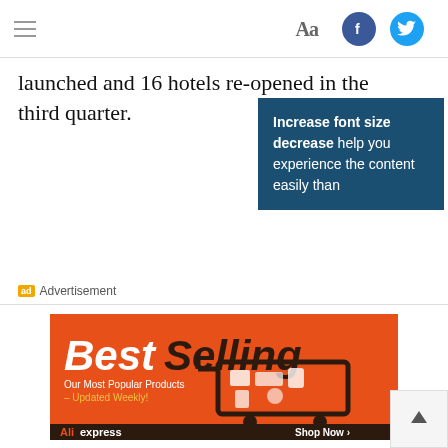Hamburger menu | Aa font size | Facebook | Twitter social icons
launched and 16 hotels re-opened in the third quarter.
[Figure (screenshot): Tooltip popup with dark blue background reading: Increase font size decrease help you experience the content easily than]
ad Advertisement
[Figure (illustration): AliExpress advertisement banner: BestSelling – Our Most Popular Products – Updated Weekly! with shopping cart full of products. Shop Now > button. Orange background.]